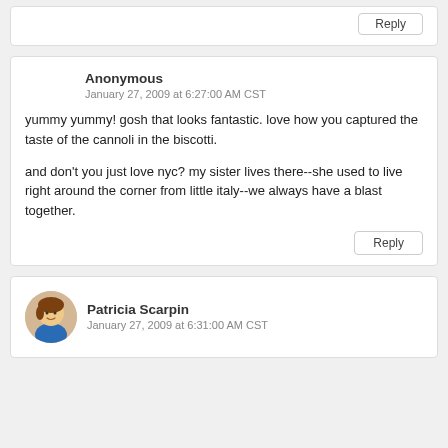Reply
Anonymous
January 27, 2009 at 6:27:00 AM CST
yummy yummy! gosh that looks fantastic. love how you captured the taste of the cannoli in the biscotti.
and don't you just love nyc? my sister lives there--she used to live right around the corner from little italy--we always have a blast together.
Reply
Patricia Scarpin
January 27, 2009 at 6:31:00 AM CST